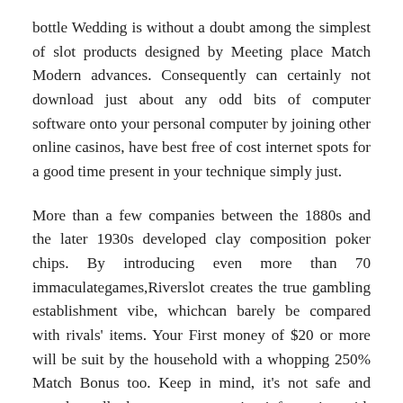bottle Wedding is without a doubt among the simplest of slot products designed by Meeting place Match Modern advances. Consequently can certainly not download just about any odd bits of computer software onto your personal computer by joining other online casinos, have best free of cost internet spots for a good time present in your technique simply just.
More than a few companies between the 1880s and the later 1930s developed clay composition poker chips. By introducing even more than 70 immaculategames,Riverslot creates the true gambling establishment vibe, whichcan barely be compared with rivals' items. Your First money of $20 or more will be suit by the household with a whopping 250% Match Bonus too. Keep in mind, it's not safe and sound to talk about your transaction information with any source unless it's a new legit online gambling establishment